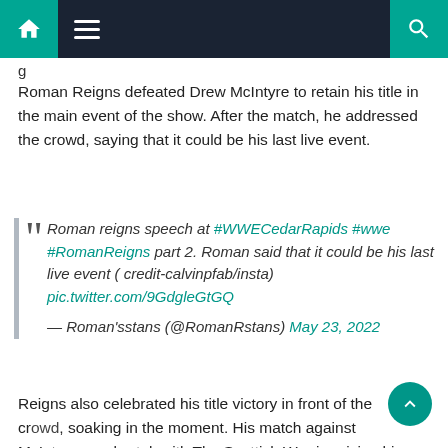g
Roman Reigns defeated Drew McIntyre to retain his title in the main event of the show. After the match, he addressed the crowd, saying that it could be his last live event.
Roman reigns speech at #WWECedarRapids #wwe #RomanReigns part 2. Roman said that it could be his last live event ( credit-calvinpfab/insta) pic.twitter.com/9GdgleGtGQ
— Roman'sstans (@RomanRstans) May 23, 2022
Reigns also celebrated his title victory in front of the crowd, soaking in the moment. His match against McIntyre was brutal, with The Scottish Warrior giving him a run for his